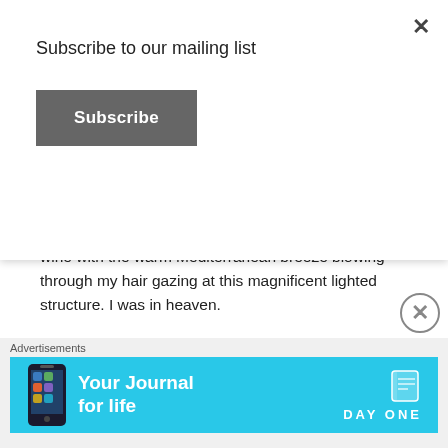Subscribe to our mailing list
Subscribe
wine with the warm Mediterranean breeze blowing through my hair gazing at this magnificent lighted structure.  I was in heaven.
they
Getting to the top of this great structure was definitely a challenge.  Part of the path  was etched in cobble stone and the other part had marble stone slabs. The path was slick and treacherous in some areas. Good walking shoes is a must to navigate this path.  Once at the top, the remnants of
Advertisements
[Figure (screenshot): Blue advertisement banner for 'Your Journal for life' by DAY ONE app with phone image]